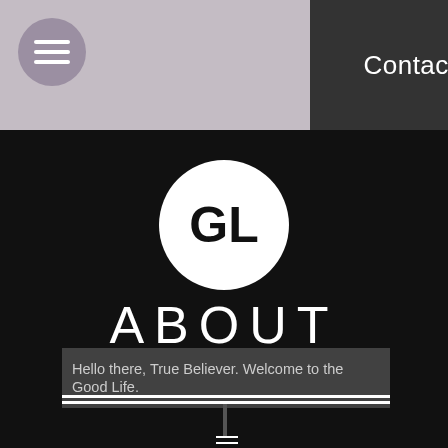[Figure (logo): Hamburger menu button - circular purple/mauve button with three horizontal white lines]
Contact
[Figure (logo): GL logo - white circle on black background with bold black text GL]
ABOUT
Hello there, True Believer. Welcome to the Good Life.